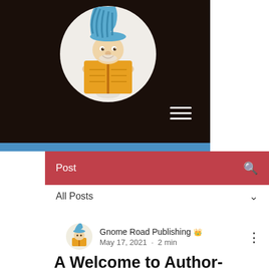[Figure (illustration): Dark brown header banner with a circular illustration of a cartoon gnome wearing a blue striped tall hat, reading an open orange/yellow book. Hamburger menu icon (three horizontal white lines) in the lower right of the banner.]
Post
All Posts
Gnome Road Publishing ♛
May 17, 2021 · 2 min
A Welcome to Author-